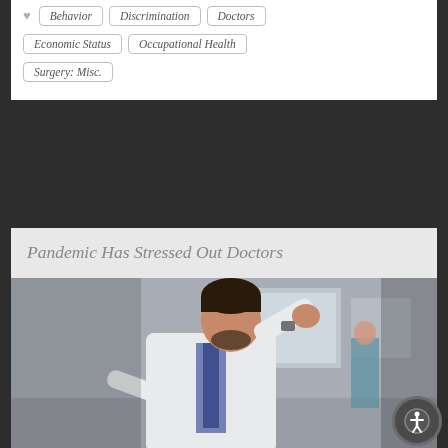Behavior
Discrimination
Doctors
Economic Status
Occupational Health
Surgery: Misc.
Pandemic Has Stressed Out Doctors
[Figure (photo): A stressed male doctor in a white coat and dark tie, hand on his head, looking down, with a blurred hospital corridor in the background and another medical professional in blue scrubs visible behind him.]
It's a finding that stands to reason: A new study